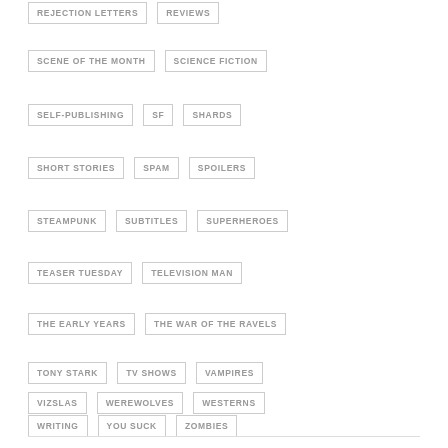REJECTION LETTERS
REVIEWS
SCENE OF THE MONTH
SCIENCE FICTION
SELF-PUBLISHING
SF
SHARDS
SHORT STORIES
SPAM
SPOILERS
STEAMPUNK
SUBTITLES
SUPERHEROES
TEASER TUESDAY
TELEVISION MAN
THE EARLY YEARS
THE WAR OF THE RAVELS
TONY STARK
TV SHOWS
VAMPIRES
VIZSLAS
WEREWOLVES
WESTERNS
WRITING
YOU SUCK
ZOMBIES